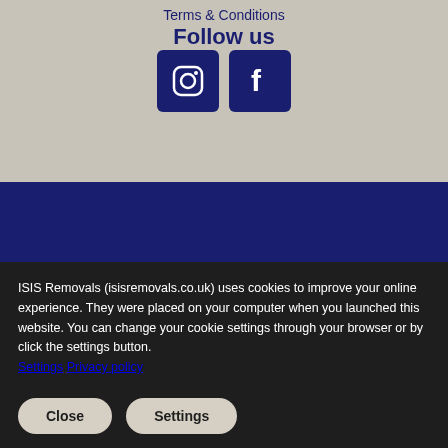Terms & Conditions
Follow us
[Figure (infographic): Instagram and Facebook social media icon buttons (dark navy rounded squares)]
ISIS Removals (isisremovals.co.uk) uses cookies to improve your online experience. They were placed on your computer when you launched this website. You can change your cookie settings through your browser or by click the settings button. Settings Privacy policy
Close
Settings